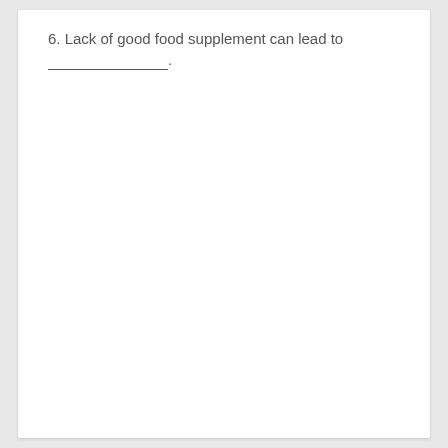6. Lack of good food supplement can lead to _______________.